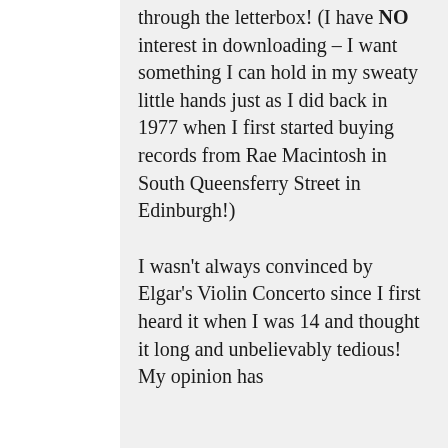through the letterbox! (I have NO interest in downloading – I want something I can hold in my sweaty little hands just as I did back in 1977 when I first started buying records from Rae Macintosh in South Queensferry Street in Edinburgh!)
I wasn't always convinced by Elgar's Violin Concerto since I first heard it when I was 14 and thought it long and unbelievably tedious! My opinion has